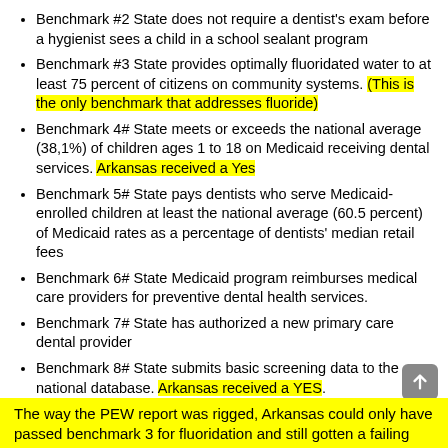Benchmark #2 State does not require a dentist's exam before a hygienist sees a child in a school sealant program
Benchmark #3 State provides optimally fluoridated water to at least 75 percent of citizens on community systems. (This is the only benchmark that addresses fluoride)
Benchmark 4# State meets or exceeds the national average (38,1%) of children ages 1 to 18 on Medicaid receiving dental services. Arkansas received a Yes
Benchmark 5# State pays dentists who serve Medicaid-enrolled children at least the national average (60.5 percent) of Medicaid rates as a percentage of dentists' median retail fees
Benchmark 6# State Medicaid program reimburses medical care providers for preventive dental health services.
Benchmark 7# State has authorized a new primary care dental provider
Benchmark 8# State submits basic screening data to the national database. Arkansas received a YES.
The way the PEW report was rigged, Arkansas could only have passed benchmark 3 for fluoridation and still gotten a failing